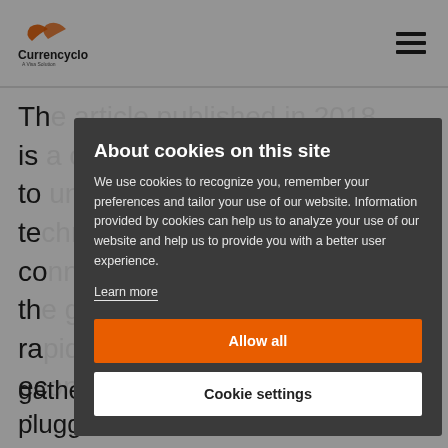[Figure (logo): Currencycloud logo with orange swoosh mark and 'A Visa Solution' tagline]
gathered a group of the most plugged-in
[Figure (screenshot): Cookie consent modal overlay with dark background. Title: 'About cookies on this site'. Body text about cookie usage. 'Learn more' link. 'Allow all' orange button. 'Cookie settings' white button.]